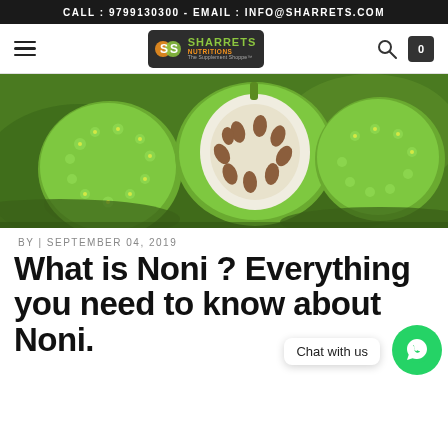CALL : 9799130300 - EMAIL : INFO@SHARRETS.COM
[Figure (logo): Sharrets Nutritions logo with green and orange color scheme]
[Figure (photo): Noni fruits - green bumpy fruits with one cut open showing white flesh with brown seeds, on green leaves]
BY | SEPTEMBER 04, 2019
What is Noni ? Everything you need to know about Noni.